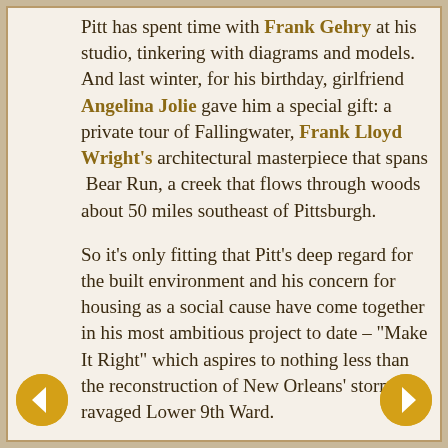Pitt has spent time with Frank Gehry at his studio, tinkering with diagrams and models. And last winter, for his birthday, girlfriend Angelina Jolie gave him a special gift: a private tour of Fallingwater, Frank Lloyd Wright's architectural masterpiece that spans Bear Run, a creek that flows through woods about 50 miles southeast of Pittsburgh.
So it's only fitting that Pitt's deep regard for the built environment and his concern for housing as a social cause have come together in his most ambitious project to date – "Make It Right" which aspires to nothing less than the reconstruction of New Orleans' storm-ravaged Lower 9th Ward.
Pitt, along with residents of the area, Democratic fundraiser and movie producer Steve Bing, and a team of world-